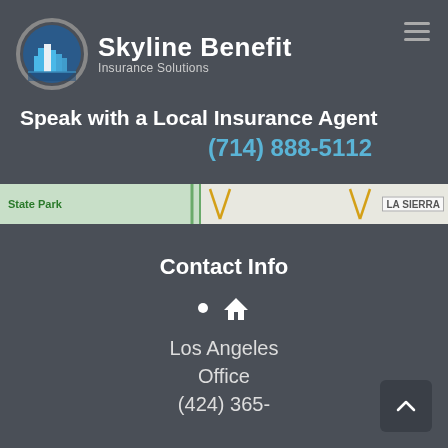[Figure (logo): Skyline Benefit Insurance Solutions logo — circular emblem with blue city skyline silhouette and grey ring, beside bold white text 'Skyline Benefit' with subtitle 'Insurance Solutions']
Speak with a Local Insurance Agent
(714) 888-5112
[Figure (map): Partial map strip showing green area labeled 'State Park' on left and 'LA SIERRA' label on right with road markings]
Contact Info
Los Angeles Office
(424) 365-